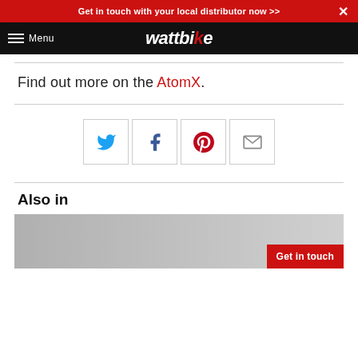Get in touch with your local distributor now >>
wattbike — Menu
Find out more on the AtomX.
[Figure (infographic): Social media share buttons: Twitter (bird icon), Facebook (f icon), Pinterest (p icon), Email (envelope icon)]
Also in
[Figure (photo): Photo of people with Wattbike equipment, with a red 'Get in touch' button overlay]